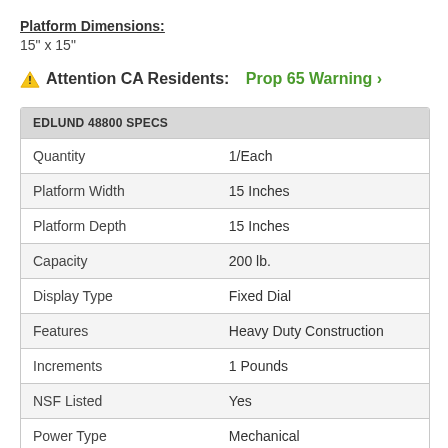Platform Dimensions:
15" x 15"
⚠ Attention CA Residents: Prop 65 Warning ›
| EDLUND 48800 SPECS |  |
| --- | --- |
| Quantity | 1/Each |
| Platform Width | 15 Inches |
| Platform Depth | 15 Inches |
| Capacity | 200 lb. |
| Display Type | Fixed Dial |
| Features | Heavy Duty Construction |
| Increments | 1 Pounds |
| NSF Listed | Yes |
| Power Type | Mechanical |